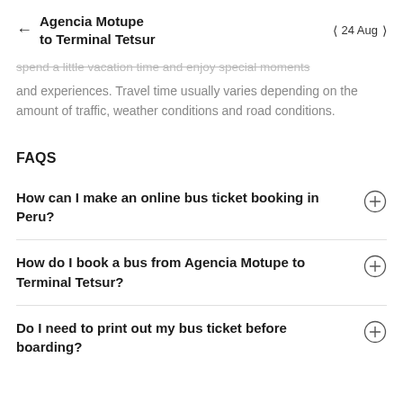← Agencia Motupe to Terminal Tetsur   < 24 Aug >
spend a little vacation time and enjoy special moments and experiences. Travel time usually varies depending on the amount of traffic, weather conditions and road conditions.
FAQS
How can I make an online bus ticket booking in Peru?
How do I book a bus from Agencia Motupe to Terminal Tetsur?
Do I need to print out my bus ticket before boarding?